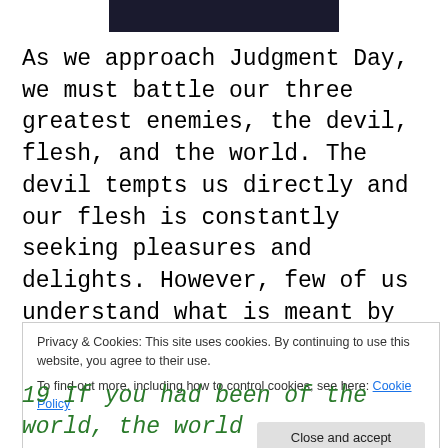[Figure (photo): Partial dark image at top of page, appears to be a person or figure against a dark background]
As we approach Judgment Day, we must battle our three greatest enemies, the devil, flesh, and the world. The devil tempts us directly and our flesh is constantly seeking pleasures and delights. However, few of us understand what is meant by the world. It has many meanings [1] but not all have the same connotations. How is the
Privacy & Cookies: This site uses cookies. By continuing to use this website, you agree to their use.
To find out more, including how to control cookies, see here: Cookie Policy
Close and accept
19 If you had been of the world, the world